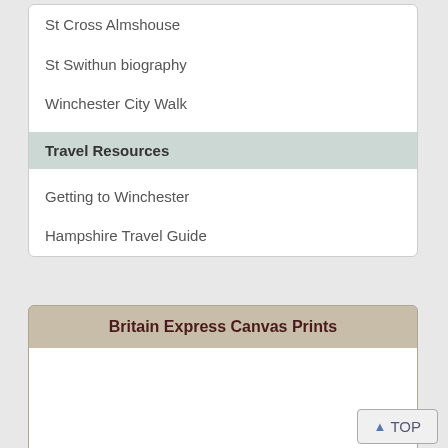St Cross Almshouse
St Swithun biography
Winchester City Walk
Travel Resources
Getting to Winchester
Hampshire Travel Guide
Britain Express Canvas Prints
▲ TOP